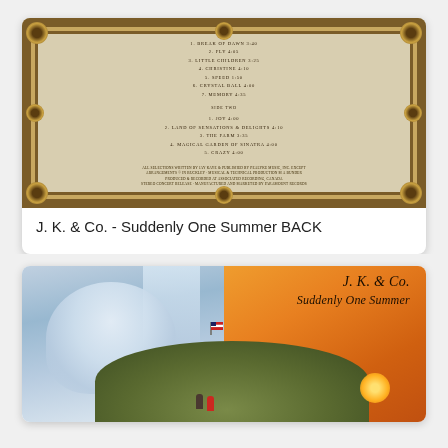[Figure (photo): Album back cover of J.K. & Co. - Suddenly One Summer. Aged parchment-colored background with ornate decorative border. Track listing visible in center with side 1 and side 2 tracks listed in small serif text. Bottom has small print copyright/credits text.]
J. K. & Co. - Suddenly One Summer BACK
[Figure (photo): Album front cover of J.K. & Co. - Suddenly One Summer. Left half shows a fantasy scene with waterfall, angelic figure, and green hill with small people. Right half has orange/sunset sky background. Upper right shows the band name 'J.K. & Co.' and album title 'Suddenly One Summer' in italic text. A small American flag is visible. Yellow sun near bottom right.]